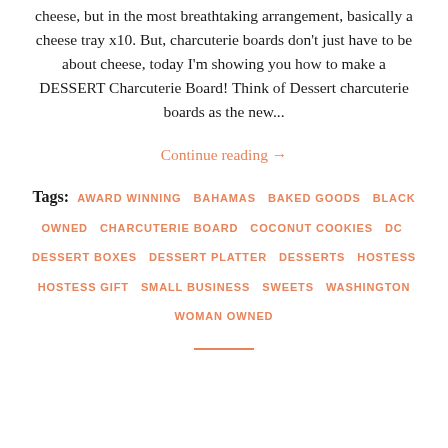cheese, but in the most breathtaking arrangement, basically a cheese tray x10. But, charcuterie boards don't just have to be about cheese, today I'm showing you how to make a DESSERT Charcuterie Board! Think of Dessert charcuterie boards as the new...
Continue reading →
Tags: AWARD WINNING BAHAMAS BAKED GOODS BLACK OWNED CHARCUTERIE BOARD COCONUT COOKIES DC DESSERT BOXES DESSERT PLATTER DESSERTS HOSTESS HOSTESS GIFT SMALL BUSINESS SWEETS WASHINGTON WOMAN OWNED